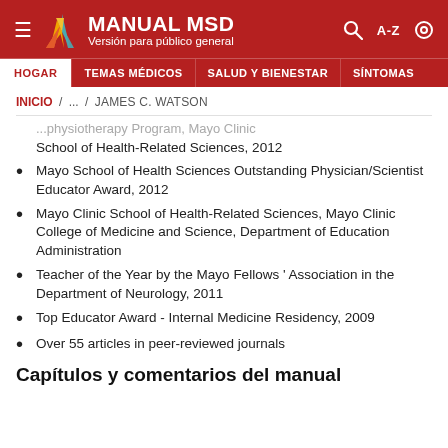MANUAL MSD Versión para público general
HOGAR  TEMAS MÉDICOS  SALUD Y BIENESTAR  SÍNTOMAS
INICIO / ... / JAMES C. WATSON
School of Health-Related Sciences, 2012
Mayo School of Health Sciences Outstanding Physician/Scientist Educator Award, 2012
Mayo Clinic School of Health-Related Sciences, Mayo Clinic College of Medicine and Science, Department of Education Administration
Teacher of the Year by the Mayo Fellows ' Association in the Department of Neurology, 2011
Top Educator Award - Internal Medicine Residency, 2009
Over 55 articles in peer-reviewed journals
Capítulos y comentarios del manual